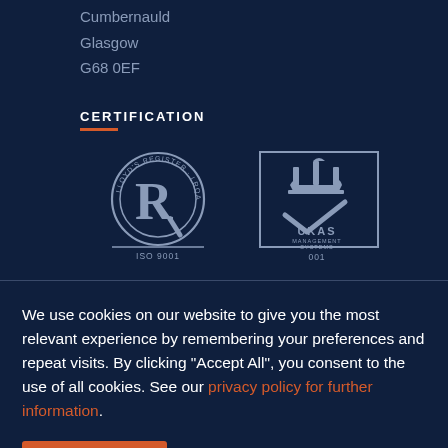Cumbernauld
Glasgow
G68 0EF
CERTIFICATION
[Figure (logo): Lloyd's Register LRQA ISO 9001 certification logo and UKAS Management Systems 001 accreditation mark]
We use cookies on our website to give you the most relevant experience by remembering your preferences and repeat visits. By clicking “Accept All”, you consent to the use of all cookies. See our privacy policy for further information.
Accept All